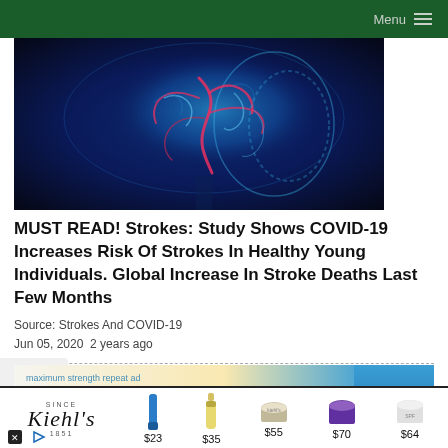Menu
[Figure (illustration): Medical illustration of a human brain with glowing blue neural network and red blood vessels highlighted, side profile view against dark background]
MUST READ! Strokes: Study Shows COVID-19 Increases Risk Of Strokes In Healthy Young Individuals. Global Increase In Stroke Deaths Last Few Months
Source: Strokes And COVID-19
Jun 05, 2020  2 years ago
[Figure (advertisement): Advertisement for maximum strength famotidine tablets medication]
[Figure (advertisement): Kiehl's skincare advertisement showing 5 products priced at $23, $35, $55, $70, $64]